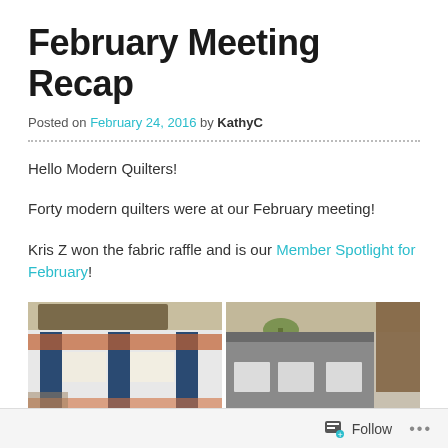February Meeting Recap
Posted on February 24, 2016 by KathyC
Hello Modern Quilters!
Forty modern quilters were at our February meeting!
Kris Z won the fabric raffle and is our Member Spotlight for February!
[Figure (photo): Two photos side by side: left shows a colorful patchwork quilt hanging on display; right shows a gray quilt with white rectangular patches hanging on display]
Follow ...